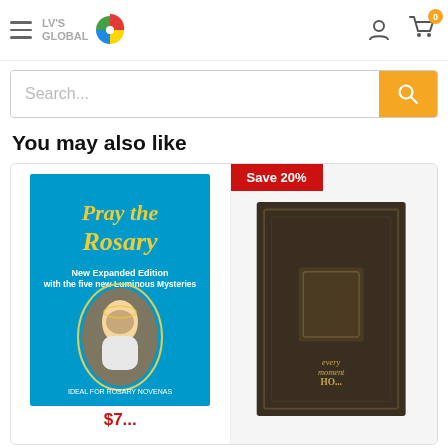[Figure (screenshot): LV's Global website header with hamburger menu, logo, user icon, and cart icon with 0 badge]
[Figure (screenshot): Search bar with placeholder text 'Search...' and orange search button]
You may also like
[Figure (photo): Blue book cover: 'Pray the Rosary - New Expanded Edition with the five new Luminous Mysteries - Ideal for Rosary Novenas']
[Figure (photo): Dark brown leather-bound book, partially visible, with 'Save 20%' badge]
$7... USD